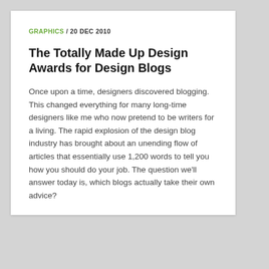GRAPHICS / 20 DEC 2010
The Totally Made Up Design Awards for Design Blogs
Once upon a time, designers discovered blogging. This changed everything for many long-time designers like me who now pretend to be writers for a living. The rapid explosion of the design blog industry has brought about an unending flow of articles that essentially use 1,200 words to tell you how you should do your job. The question we’ll answer today is, which blogs actually take their own advice?